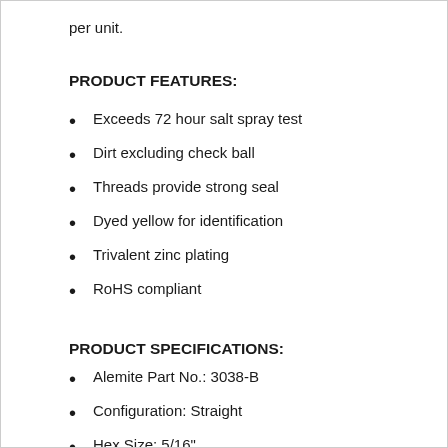per unit.
PRODUCT FEATURES:
Exceeds 72 hour salt spray test
Dirt excluding check ball
Threads provide strong seal
Dyed yellow for identification
Trivalent zinc plating
RoHS compliant
PRODUCT SPECIFICATIONS:
Alemite Part No.: 3038-B
Configuration: Straight
Hex Size: 5/16"
Hole Size Recommended: .230 - .235